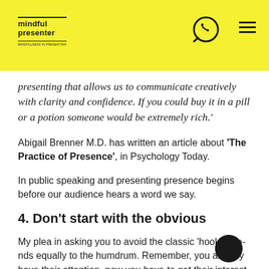mindful presenter
presenting that allows us to communicate creatively with clarity and confidence. If you could buy it in a pill or a potion someone would be extremely rich.'
Abigail Brenner M.D. has written an article about 'The Practice of Presence', in Psychology Today.
In public speaking and presenting presence begins before our audience hears a word we say.
4. Don't start with the obvious
My plea in asking you to avoid the classic 'hook' extends equally to the humdrum. Remember, you already have their attention, now you have to get their interest and curiosity.